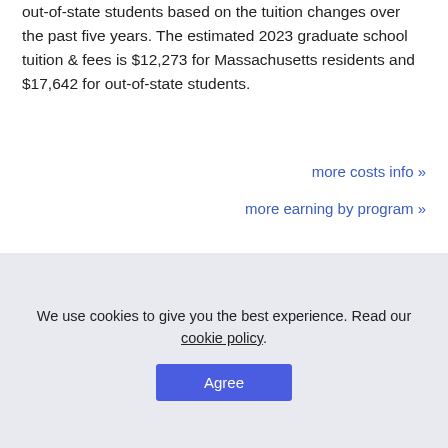out-of-state students based on the tuition changes over the past five years. The estimated 2023 graduate school tuition & fees is $12,273 for Massachusetts residents and $17,642 for out-of-state students.
more costs info »
more earning by program »
2021-22 Tuition & Fees    2022-23 Estimation
We use cookies to give you the best experience. Read our cookie policy.